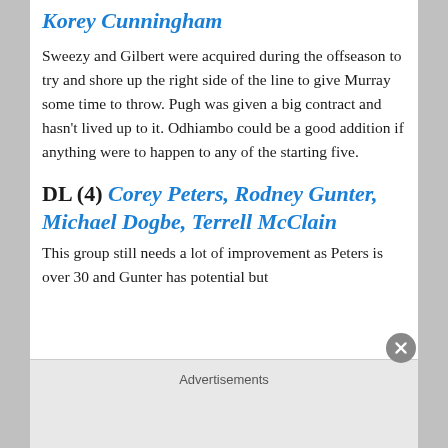Korey Cunningham
Sweezy and Gilbert were acquired during the offseason to try and shore up the right side of the line to give Murray some time to throw. Pugh was given a big contract and hasn't lived up to it. Odhiambo could be a good addition if anything were to happen to any of the starting five.
DL (4) Corey Peters, Rodney Gunter, Michael Dogbe, Terrell McClain
This group still needs a lot of improvement as Peters is over 30 and Gunter has potential but
Advertisements